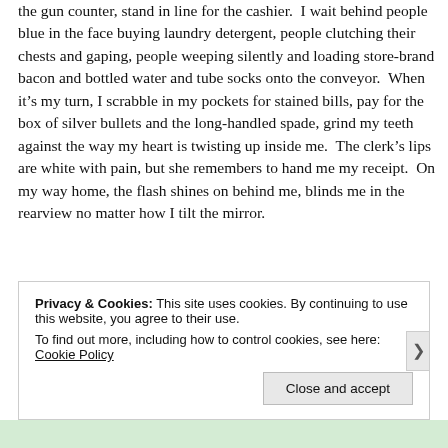the gun counter, stand in line for the cashier.  I wait behind people blue in the face buying laundry detergent, people clutching their chests and gaping, people weeping silently and loading store-brand bacon and bottled water and tube socks onto the conveyor.  When it's my turn, I scrabble in my pockets for stained bills, pay for the box of silver bullets and the long-handled spade, grind my teeth against the way my heart is twisting up inside me.  The clerk's lips are white with pain, but she remembers to hand me my receipt.  On my way home, the flash shines on behind me, blinds me in the rearview no matter how I tilt the mirror.
Privacy & Cookies: This site uses cookies. By continuing to use this website, you agree to their use. To find out more, including how to control cookies, see here: Cookie Policy
Close and accept